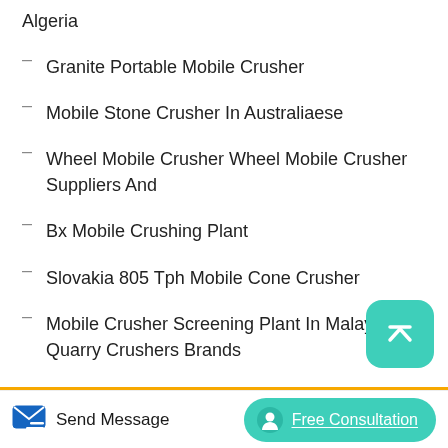Algeria
Granite Portable Mobile Crusher
Mobile Stone Crusher In Australiaese
Wheel Mobile Crusher Wheel Mobile Crusher Suppliers And
Bx Mobile Crushing Plant
Slovakia 805 Tph Mobile Cone Crusher
Mobile Crusher Screening Plant In Malaysia Quarry Crushers Brands
Mobile Crusher Dust Suppression System Systems
Concrete Mobile Crusher Repair In Algeria